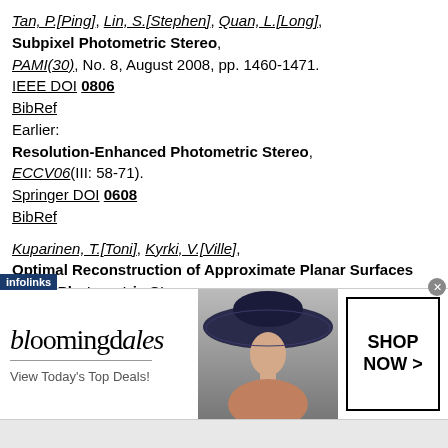Tan, P.[Ping], Lin, S.[Stephen], Quan, L.[Long], Subpixel Photometric Stereo, PAMI(30), No. 8, August 2008, pp. 1460-1471. IEEE DOI 0806 BibRef Earlier: Resolution-Enhanced Photometric Stereo, ECCV06(III: 58-71). Springer DOI 0608 BibRef
Kuparinen, T.[Toni], Kyrki, V.[Ville], Optimal Reconstruction of Approximate Planar Surfaces Using Photometric Stereo, PAMI(31), No. 12, December 2009, pp. 2282-2289. IEEE DOI 0911 Reconstruction from noisy real images. Planes. high-frequency height variations (roughness?) BibRef
[Figure (other): Bloomingdale's advertisement banner with logo, tagline 'View Today's Top Deals!', woman in hat, and 'SHOP NOW >' button]